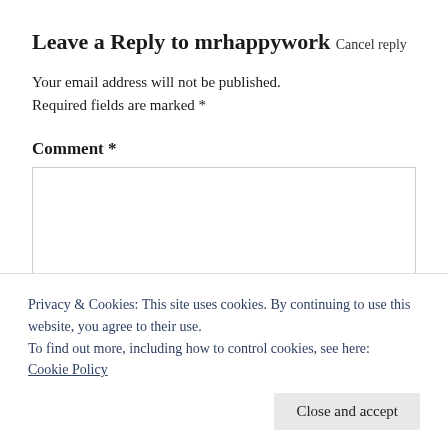Leave a Reply to mrhappywork Cancel reply
Your email address will not be published. Required fields are marked *
Comment *
Privacy & Cookies: This site uses cookies. By continuing to use this website, you agree to their use.
To find out more, including how to control cookies, see here: Cookie Policy
Close and accept